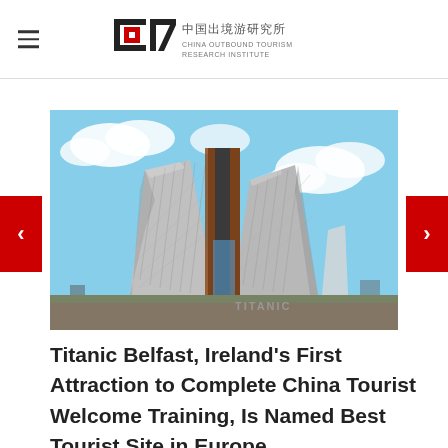中国出境游研究所 CHINA OUTBOUND TOURISM RESEARCH INSTITUTE
[Figure (photo): Photograph of the Titanic Belfast museum building — a large striking silver/metallic angular structure with four distinctive prow-shaped facades against a blue sky with clouds.]
Titanic Belfast, Ireland's First Attraction to Complete China Tourist Welcome Training, Is Named Best Tourist Site in Europe.